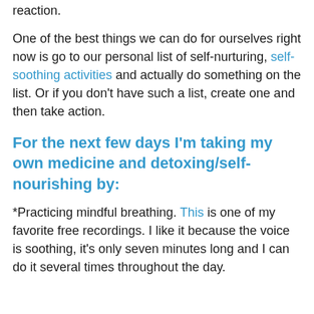reaction.
One of the best things we can do for ourselves right now is go to our personal list of self-nurturing, self-soothing activities and actually do something on the list. Or if you don't have such a list, create one and then take action.
For the next few days I'm taking my own medicine and detoxing/self-nourishing by:
*Practicing mindful breathing. This is one of my favorite free recordings. I like it because the voice is soothing, it's only seven minutes long and I can do it several times throughout the day.